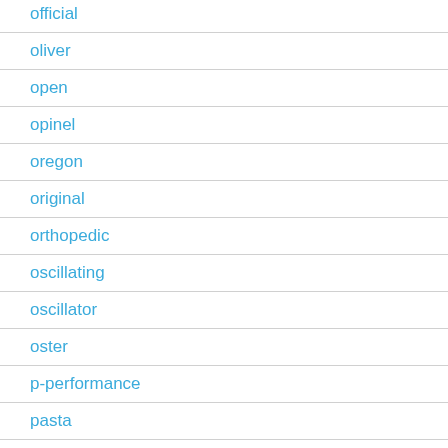official
oliver
open
opinel
oregon
original
orthopedic
oscillating
oscillator
oster
p-performance
pasta
peformance